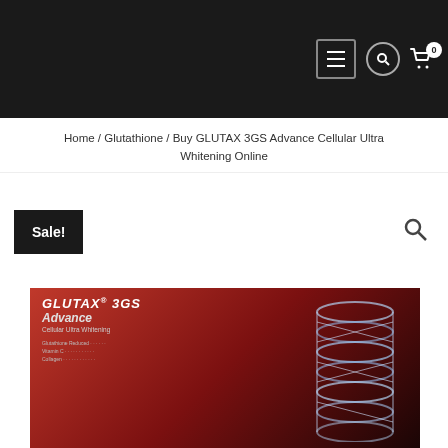Navigation header with hamburger menu, search icon, and cart icon (0 items)
Home / Glutathione / Buy GLUTAX 3GS Advance Cellular Ultra Whitening Online
Sale!
[Figure (photo): Product image of GLUTAX 3GS Advance Cellular Ultra Whitening with DNA helix graphic on dark red background]